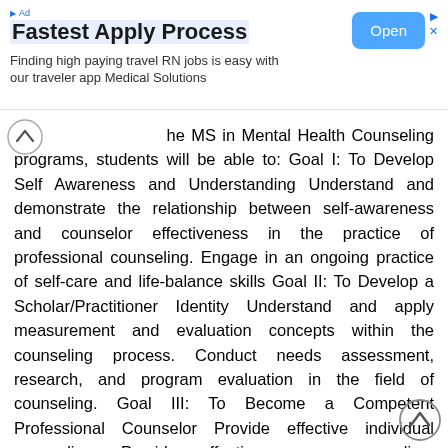[Figure (other): Advertisement banner: 'Fastest Apply Process' with blue Open button. Text: Finding high paying travel RN jobs is easy with our traveler app Medical Solutions]
the MS in Mental Health Counseling programs, students will be able to: Goal I: To Develop Self Awareness and Understanding Understand and demonstrate the relationship between self-awareness and counselor effectiveness in the practice of professional counseling. Engage in an ongoing practice of self-care and life-balance skills Goal II: To Develop a Scholar/Practitioner Identity Understand and apply measurement and evaluation concepts within the counseling process. Conduct needs assessment, research, and program evaluation in the field of counseling. Goal III: To Become a Competent Professional Counselor Provide effective individual counseling. Provide effective group counseling. Recognize boundaries of competence. Understand the counseling community, the roles and functions of the professional counselor in a variety of settings, significant professional organizations, and the importance of professional standards and credentialing. Demonstrate competence in